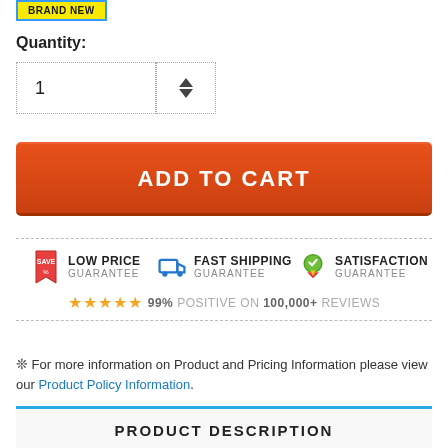[Figure (infographic): BRAND NEW badge in yellow with blue border]
Quantity:
[Figure (infographic): Quantity input field showing value 1 with up/down spinner arrows]
[Figure (infographic): ADD TO CART orange button]
[Figure (infographic): Three guarantee badges: LOW PRICE GUARANTEE, FAST SHIPPING GUARANTEE, SATISFACTION GUARANTEE, with 5 stars and 99% POSITIVE ON 100,000+ REVIEWS]
❊ For more information on Product and Pricing Information please view our Product Policy Information.
PRODUCT DESCRIPTION